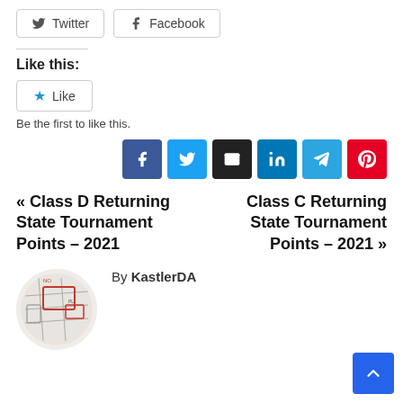[Figure (infographic): Twitter and Facebook share buttons with border]
Like this:
[Figure (infographic): Like button with star icon]
Be the first to like this.
[Figure (infographic): Social share icon buttons: Facebook, Twitter, Email, LinkedIn, Telegram, Pinterest]
« Class D Returning State Tournament Points – 2021
Class C Returning State Tournament Points – 2021 »
By KastlerDA
[Figure (photo): Circular avatar image showing a map]